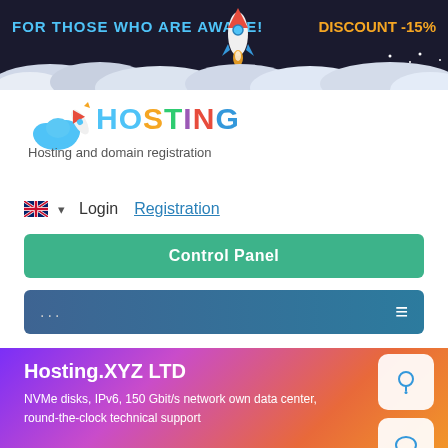[Figure (screenshot): Dark banner with text 'FOR THOSE WHO ARE AWAKE!' and 'DISCOUNT -15%' with rocket illustration and clouds]
[Figure (logo): Hosting logo with cloud and rocket icon, colorful HOSTING text]
Hosting and domain registration
Login   Registration
Control Panel
...
Hosting.XYZ LTD
NVMe disks, IPv6, 150 Gbit/s network own data center, round-the-clock technical support
5 days - free
Tariff archive